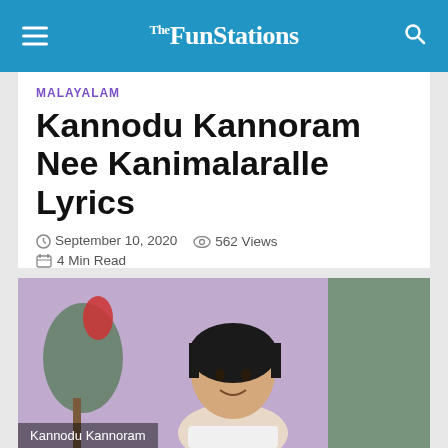The FunStations
MALAYALAM
Kannodu Kannoram Nee Kanimalaralle Lyrics
September 10, 2020  562 Views  4 Min Read
[Figure (photo): A young child with a bowl haircut smiling, with a plant and green curtain in the background. Caption: Kannodu Kannoram]